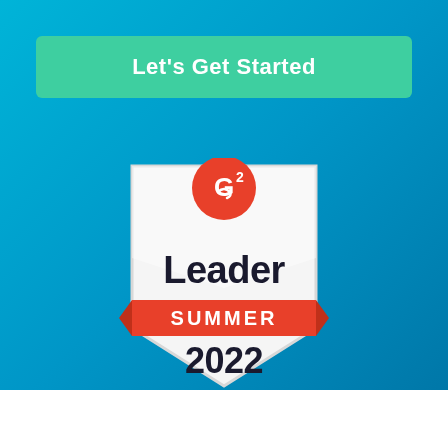Let's Get Started
[Figure (logo): G2 Leader Summer 2022 badge — shield shaped award badge with G2 logo at top in red, 'Leader' text in bold black, 'SUMMER' in white on red banner, '2022' in bold black at bottom]